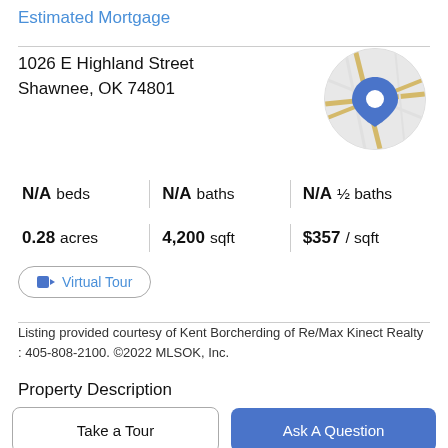Estimated Mortgage
1026 E Highland Street
Shawnee, OK 74801
[Figure (map): Circular map thumbnail showing street map with a blue location pin marker]
N/A beds | N/A baths | N/A ½ baths | 0.28 acres | 4,200 sqft | $357 / sqft
Virtual Tour
Listing provided courtesy of Kent Borcherding of Re/Max Kinect Realty : 405-808-2100. ©2022 MLSOK, Inc.
Property Description
Take a Tour
Ask A Question